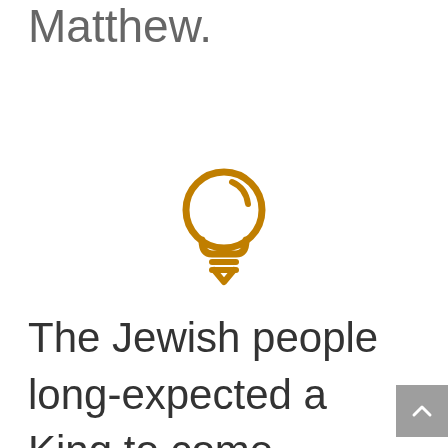exploration of Matthew.
[Figure (illustration): A golden/amber colored lightbulb icon with a highlight arc on the upper right of the bulb, a base with two horizontal lines, and a small downward pointing chevron at the bottom.]
The Jewish people long-expected a King to come So we start our